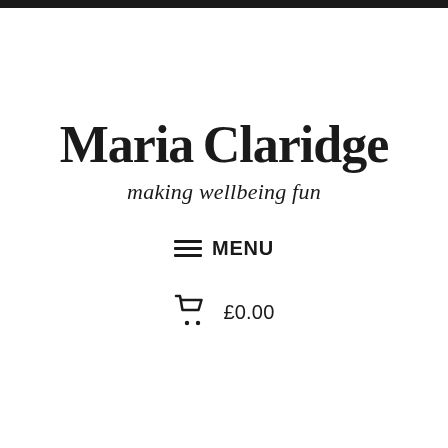Maria Claridge
making wellbeing fun
≡ MENU
£0.00